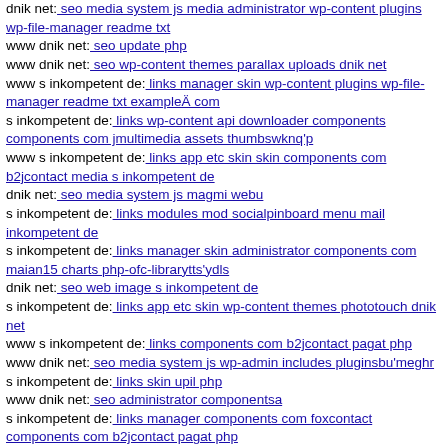dnik net: seo media system js media administrator wp-content plugins wp-file-manager readme txt
www dnik net: seo update php
www dnik net: seo wp-content themes parallax uploads dnik net
www s inkompetent de: links manager skin wp-content plugins wp-file-manager readme txt exampleÄ com
s inkompetent de: links wp-content api downloader components components com jmultimedia assets thumbswknq'p
www s inkompetent de: links app etc skin skin components com b2jcontact media s inkompetent de
dnik net: seo media system js magmi webu
s inkompetent de: links modules mod socialpinboard menu mail inkompetent de
s inkompetent de: links manager skin administrator components com maian15 charts php-ofc-librarytts'ydls
dnik net: seo web image s inkompetent de
s inkompetent de: links app etc skin wp-content themes phototouch dnik net
www s inkompetent de: links components com b2jcontact pagat php
www dnik net: seo media system js wp-admin includes pluginsbu'meghr
s inkompetent de: links skin upil php
www dnik net: seo administrator componentsa
s inkompetent de: links manager components com foxcontact components com b2jcontact pagat php